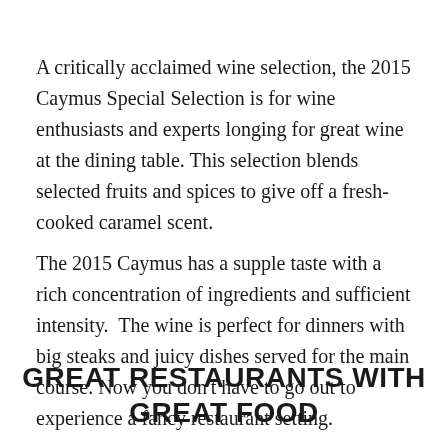A critically acclaimed wine selection, the 2015 Caymus Special Selection is for wine enthusiasts and experts longing for great wine at the dining table. This selection blends selected fruits and spices to give off a fresh-cooked caramel scent.
The 2015 Caymus has a supple taste with a rich concentration of ingredients and sufficient intensity.  The wine is perfect for dinners with big steaks and juicy dishes served for the main course. Now you don't have to go out to experience a fancy restaurant setting.
GREAT RESTAURANTS WITH GREAT FOOD